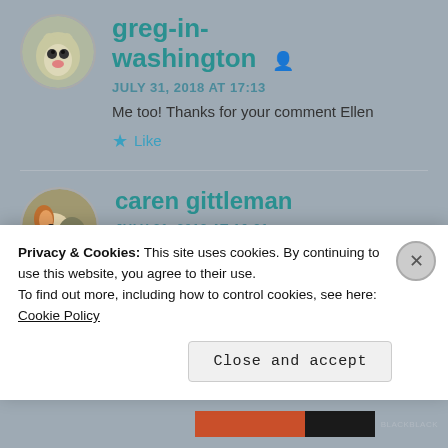greg-in-washington
JULY 31, 2018 AT 17:13
Me too! Thanks for your comment Ellen
Like
caren gittleman
JULY 31, 2018 AT 16:21
Privacy & Cookies: This site uses cookies. By continuing to use this website, you agree to their use.
To find out more, including how to control cookies, see here: Cookie Policy
Close and accept